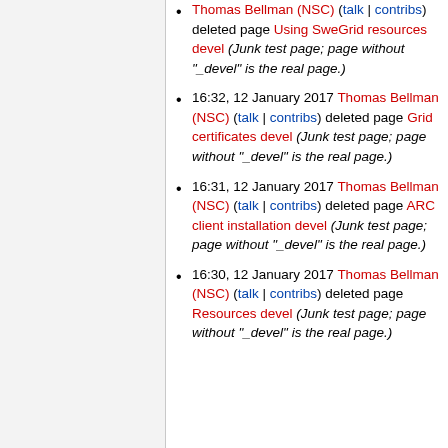Thomas Bellman (NSC) (talk | contribs) deleted page Using SweGrid resources devel (Junk test page; page without "_devel" is the real page.)
16:32, 12 January 2017 Thomas Bellman (NSC) (talk | contribs) deleted page Grid certificates devel (Junk test page; page without "_devel" is the real page.)
16:31, 12 January 2017 Thomas Bellman (NSC) (talk | contribs) deleted page ARC client installation devel (Junk test page; page without "_devel" is the real page.)
16:30, 12 January 2017 Thomas Bellman (NSC) (talk | contribs) deleted page Resources devel (Junk test page; page without "_devel" is the real page.)